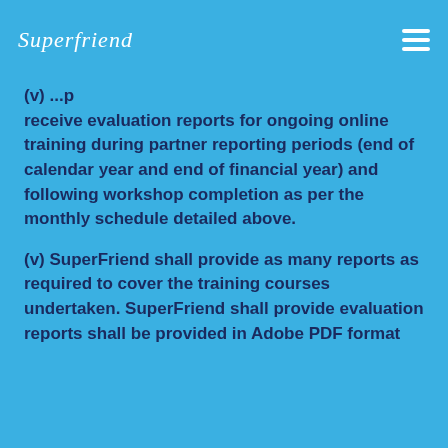SuperFriend
(v) ... receive evaluation reports for ongoing online training during partner reporting periods (end of calendar year and end of financial year) and following workshop completion as per the monthly schedule detailed above.
(v) SuperFriend shall provide as many reports as required to cover the training courses undertaken. SuperFriend shall provide evaluation reports shall be provided in Adobe PDF format